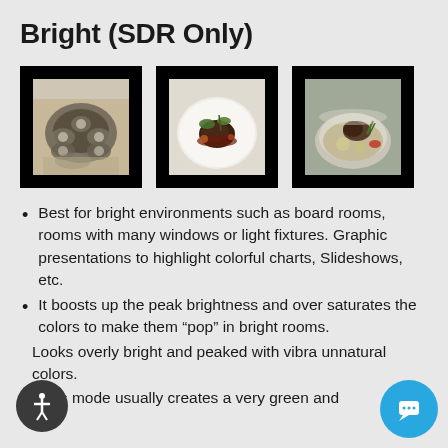Bright (SDR Only)
[Figure (photo): Three food photos displayed side by side with black borders: oysters on a plate, a steak with garnish on a white plate, and a bowl of meat and vegetables]
Best for bright environments such as board rooms, rooms with many windows or light fixtures. Graphic presentations to highlight colorful charts, Slideshows, etc.
It boosts up the peak brightness and over saturates the colors to make them “pop” in bright rooms.
Looks overly bright and peaked with vibra unnatural colors.
This mode usually creates a very green and